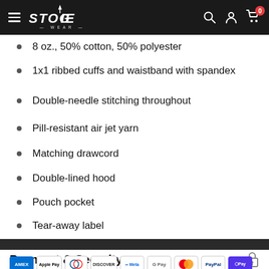Stogie Wear — Navigation bar
8 oz., 50% cotton, 50% polyester
1x1 ribbed cuffs and waistband with spandex
Double-needle stitching throughout
Pill-resistant air jet yarn
Matching drawcord
Double-lined hood
Pouch pocket
Tear-away label
Payment & Security